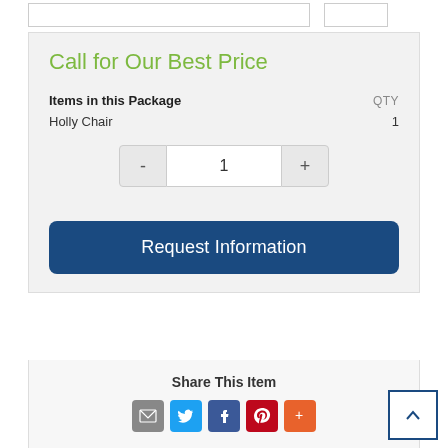Call for Our Best Price
| Items in this Package | QTY |
| --- | --- |
| Holly Chair | 1 |
1
Request Information
Share This Item
[Figure (infographic): Social share icons: Email, Twitter, Facebook, Pinterest, More]